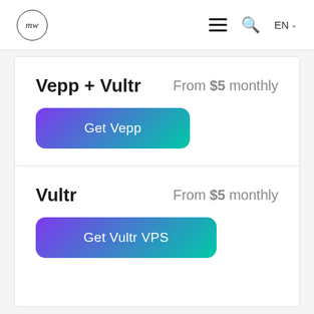MW | ☰ 🔍 EN
Vepp + Vultr
From $5 monthly
[Figure (other): Button: Get Vepp (purple to teal gradient)]
Vultr
From $5 monthly
[Figure (other): Button: Get Vultr VPS (purple to teal gradient)]